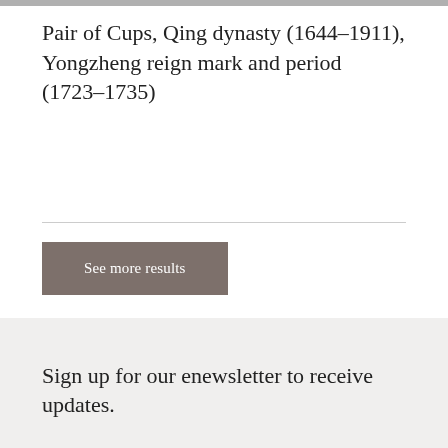Pair of Cups, Qing dynasty (1644–1911), Yongzheng reign mark and period (1723–1735)
See more results
Sign up for our enewsletter to receive updates.